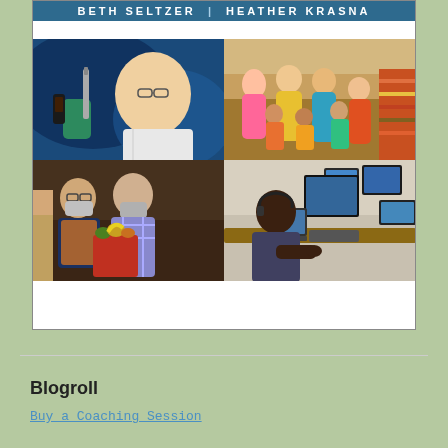[Figure (photo): Book cover or website banner featuring author names 'BETH SELTZER | HEATHER KRASNA' in header, with a 2x2 grid of photos: top-left shows a lab scientist with pipette and blue gloves, top-right shows a group of children and women in colorful clothes outdoors, bottom-left shows elderly people with face masks receiving food at a food bank, bottom-right shows a man with headset working at multiple computer monitors.]
Blogroll
Buy a Coaching Session